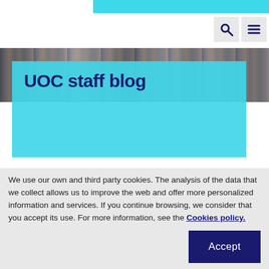UOC staff blog
[Figure (photo): Crowd of people, group photo used as hero banner image]
UOC staff blog
We use our own and third party cookies. The analysis of the data that we collect allows us to improve the web and offer more personalized information and services. If you continue browsing, we consider that you accept its use. For more information, see the Cookies policy.